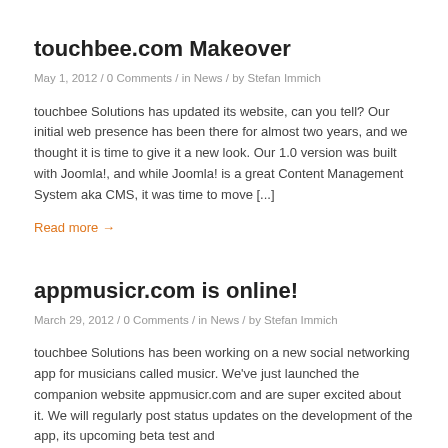touchbee.com Makeover
May 1, 2012 / 0 Comments / in News / by Stefan Immich
touchbee Solutions has updated its website, can you tell? Our initial web presence has been there for almost two years, and we thought it is time to give it a new look. Our 1.0 version was built with Joomla!, and while Joomla! is a great Content Management System aka CMS, it was time to move [...]
Read more →
appmusicr.com is online!
March 29, 2012 / 0 Comments / in News / by Stefan Immich
touchbee Solutions has been working on a new social networking app for musicians called musicr. We've just launched the companion website appmusicr.com and are super excited about it. We will regularly post status updates on the development of the app, its upcoming beta test and